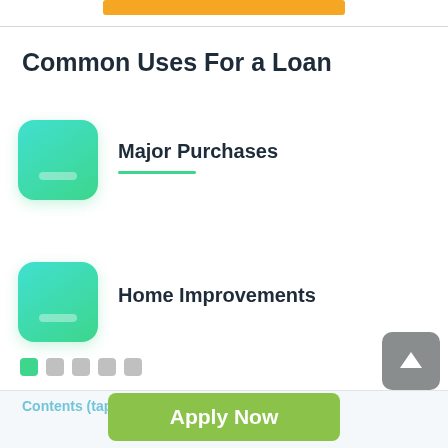[Figure (other): Orange/yellow rounded button bar at top of page]
Common Uses For a Loan
Major Purchases
Home Improvements
[Figure (other): Scroll-to-top button (grey rounded square with up arrow)]
[Figure (other): Pagination dots: one green active dot and four grey dots]
Contents (tap to hide
Apply Now
Applying does NOT affect your credit score!
No credit check to apply.
1  Why do American Payday loans Napanoch in